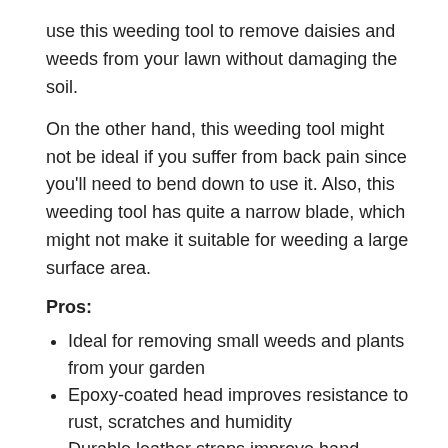use this weeding tool to remove daisies and weeds from your lawn without damaging the soil.
On the other hand, this weeding tool might not be ideal if you suffer from back pain since you'll need to bend down to use it. Also, this weeding tool has quite a narrow blade, which might not make it suitable for weeding a large surface area.
Pros:
Ideal for removing small weeds and plants from your garden
Epoxy-coated head improves resistance to rust, scratches and humidity
Durable leather straps improve hand comfort
The wood handle is weatherproofed, making it suitable to use in winter conditions
Metal can power through the toughest weed roots